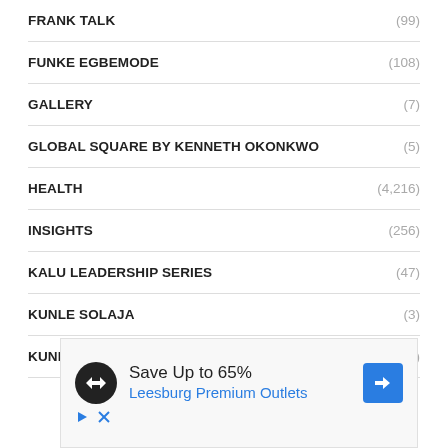FRANK TALK (99)
FUNKE EGBEMODE (108)
GALLERY (7)
GLOBAL SQUARE BY KENNETH OKONKWO (5)
HEALTH (4,216)
INSIGHTS (256)
KALU LEADERSHIP SERIES (47)
KUNLE SOLAJA (3)
KUNLE SOLAJA (24)
[Figure (other): Advertisement banner: Save Up to 65% Leesburg Premium Outlets]